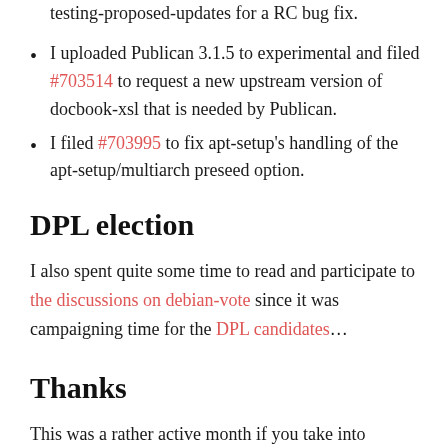testing-proposed-updates for a RC bug fix.
I uploaded Publican 3.1.5 to experimental and filed #703514 to request a new upstream version of docbook-xsl that is needed by Publican.
I filed #703995 to fix apt-setup’s handling of the apt-setup/multiarch preseed option.
DPL election
I also spent quite some time to read and participate to the discussions on debian-vote since it was campaigning time for the DPL candidates…
Thanks
This was a rather active month if you take into